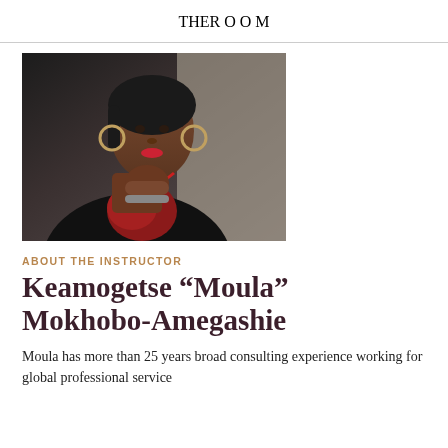THE ROOM
[Figure (photo): Portrait photograph of Keamogetse 'Moula' Mokhobo-Amegashie, a woman in a black t-shirt with a colorful red patterned scarf, wearing large hoop earrings and a bracelet, with her hands clasped near her chin, photographed against a light background.]
ABOUT THE INSTRUCTOR
Keamogetse “Moula” Mokhobo-Amegashie
Moula has more than 25 years broad consulting experience working for global professional service